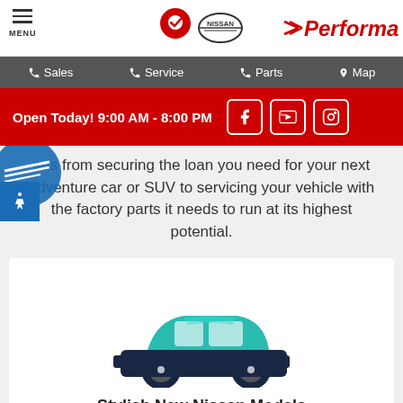[Figure (screenshot): Website header with menu icon, location pin logo, Nissan logo, and Performance dealership name in red italic text]
[Figure (screenshot): Navigation bar with Sales, Service, Parts, Map links on dark grey background]
[Figure (screenshot): Red banner with text Open Today! 9:00 AM - 8:00 PM and social media icons for Facebook, YouTube, Instagram]
eds from securing the loan you need for your next adventure car or SUV to servicing your vehicle with the factory parts it needs to run at its highest potential.
[Figure (illustration): Teal and dark navy car icon illustration]
Stylish New Nissan Models